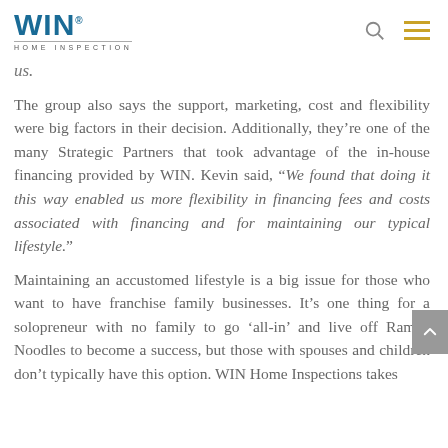WIN HOME INSPECTION
us.
The group also says the support, marketing, cost and flexibility were big factors in their decision. Additionally, they’re one of the many Strategic Partners that took advantage of the in-house financing provided by WIN. Kevin said, “We found that doing it this way enabled us more flexibility in financing fees and costs associated with financing and for maintaining our typical lifestyle.”
Maintaining an accustomed lifestyle is a big issue for those who want to have franchise family businesses. It’s one thing for a solopreneur with no family to go ‘all-in’ and live off Ramen Noodles to become a success, but those with spouses and children don’t typically have this option. WIN Home Inspections takes